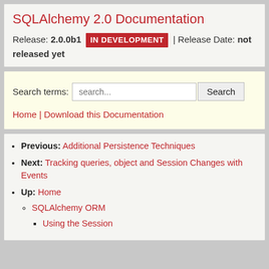SQLAlchemy 2.0 Documentation
Release: 2.0.0b1 IN DEVELOPMENT | Release Date: not released yet
Search terms: search... Search
Home | Download this Documentation
Previous: Additional Persistence Techniques
Next: Tracking queries, object and Session Changes with Events
Up: Home
SQLAlchemy ORM
Using the Session